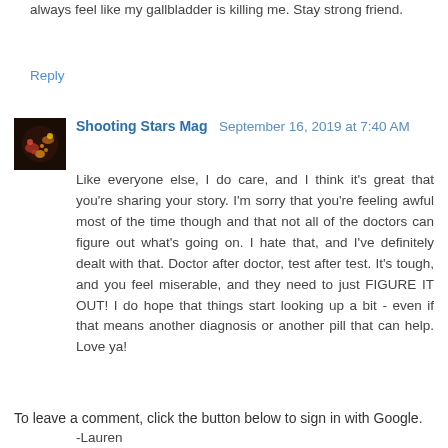always feel like my gallbladder is killing me. Stay strong friend.
Reply
Shooting Stars Mag  September 16, 2019 at 7:40 AM
Like everyone else, I do care, and I think it's great that you're sharing your story. I'm sorry that you're feeling awful most of the time though and that not all of the doctors can figure out what's going on. I hate that, and I've definitely dealt with that. Doctor after doctor, test after test. It's tough, and you feel miserable, and they need to just FIGURE IT OUT! I do hope that things start looking up a bit - even if that means another diagnosis or another pill that can help. Love ya!
-Lauren
www.shootingstarsmag.net
Reply
To leave a comment, click the button below to sign in with Google.